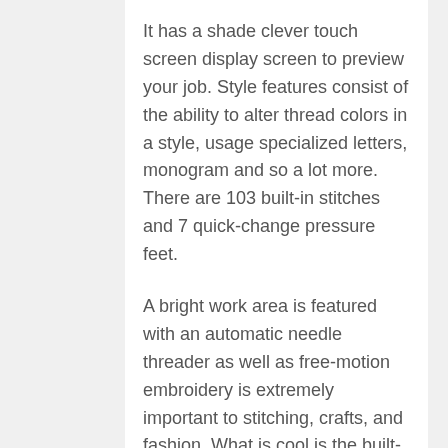It has a shade clever touch screen display screen to preview your job. Style features consist of the ability to alter thread colors in a style, usage specialized letters, monogram and so a lot more. There are 103 built-in stitches and 7 quick-change pressure feet.
A bright work area is featured with an automatic needle threader as well as free-motion embroidery is extremely important to stitching, crafts, and fashion. What is cool is the built-in tutorials that can be seen directly on the sewing device's screen. Making individualized clothes and also gifts is only the begin of the products you can do with this sewing device.